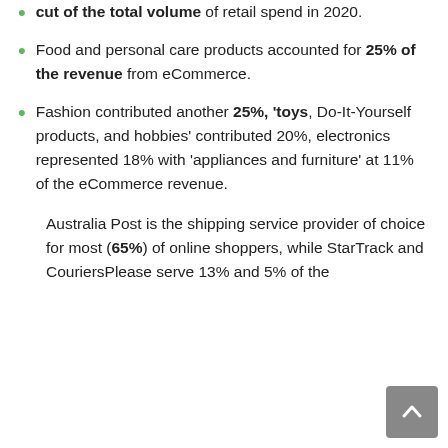cut of the total volume of retail spend in 2020.
Food and personal care products accounted for 25% of the revenue from eCommerce.
Fashion contributed another 25%, 'toys, Do-It-Yourself products, and hobbies' contributed 20%, electronics represented 18% with 'appliances and furniture' at 11% of the eCommerce revenue.
Australia Post is the shipping service provider of choice for most (65%) of online shoppers, while StarTrack and CouriersPlease serve 13% and 5% of the